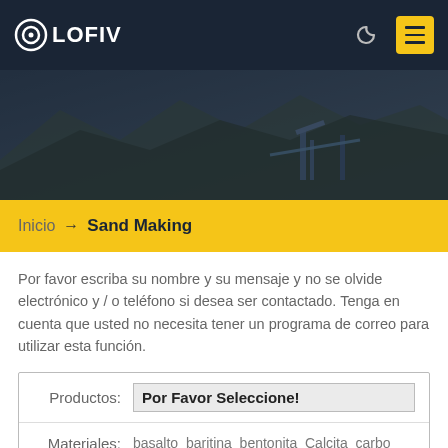OLOFIV
[Figure (photo): Hero banner photo of an industrial mining/quarry facility with mountains and conveyor belts in the background, overlaid with dark tint]
Inicio → Sand Making
Por favor escriba su nombre y su mensaje y no se olvide electrónico y / o teléfono si desea ser contactado. Tenga en cuenta que usted no necesita tener un programa de correo para utilizar esta función.
| Productos: | Por Favor Seleccione! |
| Materiales: | basalto baritina bentonita Calcita carbo |